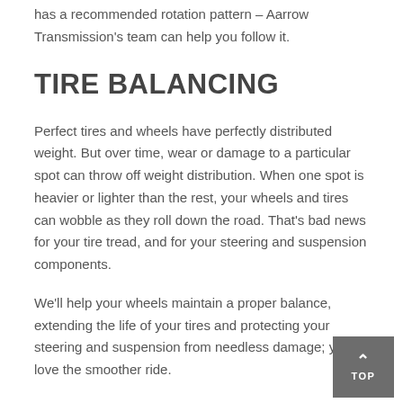has a recommended rotation pattern – Aarrow Transmission's team can help you follow it.
TIRE BALANCING
Perfect tires and wheels have perfectly distributed weight. But over time, wear or damage to a particular spot can throw off weight distribution. When one spot is heavier or lighter than the rest, your wheels and tires can wobble as they roll down the road. That's bad news for your tire tread, and for your steering and suspension components.
We'll help your wheels maintain a proper balance, extending the life of your tires and protecting your steering and suspension from needless damage; you'll love the smoother ride.